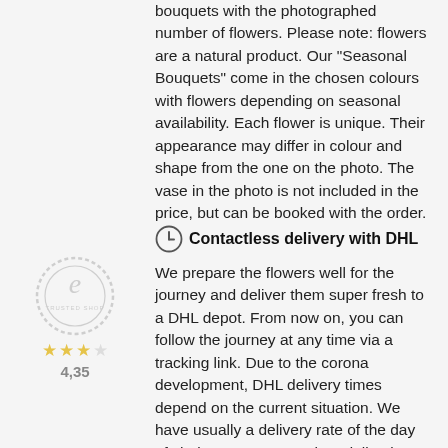bouquets with the photographed number of flowers. Please note: flowers are a natural product. Our "Seasonal Bouquets" come in the chosen colours with flowers depending on seasonal availability. Each flower is unique. Their appearance may differ in colour and shape from the one on the photo. The vase in the photo is not included in the price, but can be booked with the order.
Contactless delivery with DHL
We prepare the flowers well for the journey and deliver them super fresh to a DHL depot. From now on, you can follow the journey at any time via a tracking link. Due to the corona development, DHL delivery times depend on the current situation. We have usually a delivery rate of the day of choice up to 95%. When delivering the bouquet, DHL follows the corona related recommendations of the "Robert Koch Institute".